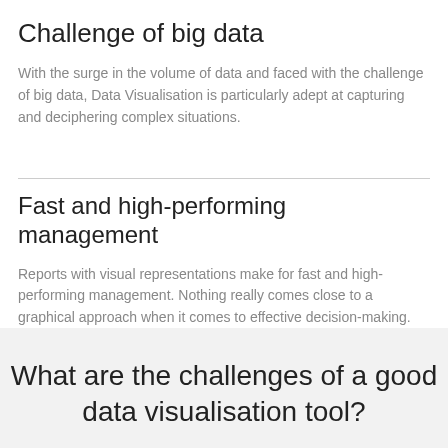Challenge of big data
With the surge in the volume of data and faced with the challenge of big data, Data Visualisation is particularly adept at capturing and deciphering complex situations.
Fast and high-performing management
Reports with visual representations make for fast and high-performing management. Nothing really comes close to a graphical approach when it comes to effective decision-making.
What are the challenges of a good data visualisation tool?